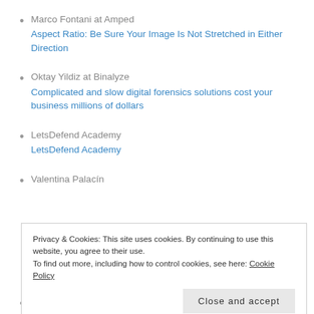Marco Fontani at Amped
Aspect Ratio: Be Sure Your Image Is Not Stretched in Either Direction
Oktay Yildiz at Binalyze
Complicated and slow digital forensics solutions cost your business millions of dollars
LetsDefend Academy
LetsDefend Academy
Valentina Palacín
Privacy & Cookies: This site uses cookies. By continuing to use this website, you agree to their use.
To find out more, including how to control cookies, see here: Cookie Policy
Angela Yi-Chun Chuang at Elastic